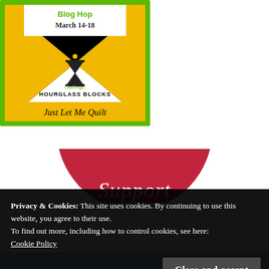[Figure (illustration): Blog Hop badge with black, yellow/gold, and white hourglass block design. Text reads 'Blog Hop March 14-18' at top, 'Challenge: HOURGLASS BLOCKS' in center, 'Just Let Me Quilt' at bottom. Green border.]
[Figure (illustration): Red/crimson semicircle with italic white text 'Support']
Privacy & Cookies: This site uses cookies. By continuing to use this website, you agree to their use.
To find out more, including how to control cookies, see here:
Cookie Policy
Close and accept